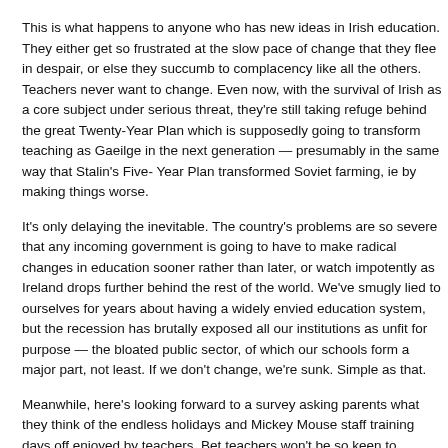This is what happens to anyone who has new ideas in Irish education. They either get so frustrated at the slow pace of change that they flee in despair, or else they succumb to complacency like all the others. Teachers never want to change. Even now, with the survival of Irish as a core subject under serious threat, they're still taking refuge behind the great Twenty-Year Plan which is supposedly going to transform teaching as Gaeilge in the next generation — presumably in the same way that Stalin's Five- Year Plan transformed Soviet farming, ie by making things worse.
It's only delaying the inevitable. The country's problems are so severe that any incoming government is going to have to make radical changes in education sooner rather than later, or watch impotently as Ireland drops further behind the rest of the world. We've smugly lied to ourselves for years about having a widely envied education system, but the recession has brutally exposed all our institutions as unfit for purpose — the bloated public sector, of which our schools form a major part, not least. If we don't change, we're sunk. Simple as that.
Meanwhile, here's looking forward to a survey asking parents what they think of the endless holidays and Mickey Mouse staff training days off enjoyed by teachers. Bet teachers won't be so keen to publicise the results of that survey.
Eilis O'Hanlon, Sunday Independent